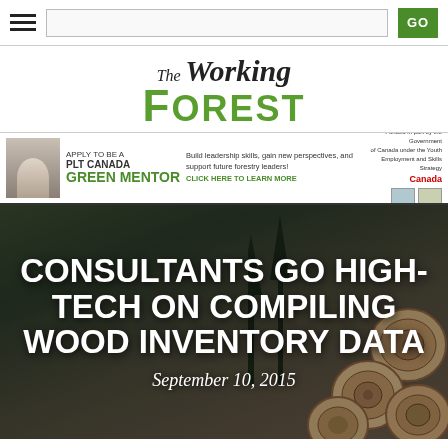Navigation bar with hamburger menu, search box, and GO button
The Working Forest
[Figure (infographic): PLT Canada Green Mentor banner advertisement with photo of a person, text 'APPLY TO BE A PLT CANADA GREEN MENTOR', 'Build leadership skills, gain new perspectives, and support future forestry leaders! CLICK HERE TO LEARN MORE', and Canada government logos]
CONSULTANTS GO HIGH-TECH ON COMPILING WOOD INVENTORY DATA
September 10, 2015